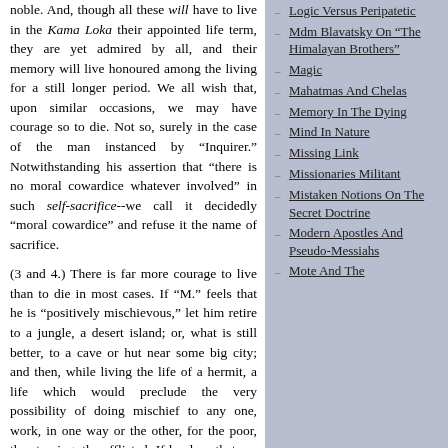noble. And, though all these will have to live in the Kama Loka their appointed life term, they are yet admired by all, and their memory will live honoured among the living for a still longer period. We all wish that, upon similar occasions, we may have courage so to die. Not so, surely in the case of the man instanced by "Inquirer." Notwithstanding his assertion that "there is no moral cowardice whatever involved" in such self-sacrifice--we call it decidedly "moral cowardice" and refuse it the name of sacrifice.
(3 and 4.) There is far more courage to live than to die in most cases. If "M." feels that he is "positively mischievous," let him retire to a jungle, a desert island; or, what is still better, to a cave or hut near some big city; and then, while living the life of a hermit, a life which would preclude the very possibility of doing mischief to any one, work, in one way or the other, for the poor, the starving, the afflicted. If he does that, no one can "become involved in the effects of his mistaken zeal," whereas, if he has the slightest talent, he can benefit many by simple manual labour
Logic Versus Peripatetic
Mdm Blavatsky On "The Himalayan Brothers"
Magic
Mahatmas And Chelas
Memory In The Dying
Mind In Nature
Missing Link
Missionaries Militant
Mistaken Notions On The Secret Doctrine
Modern Apostles And Pseudo-Messiahs
Mote And The